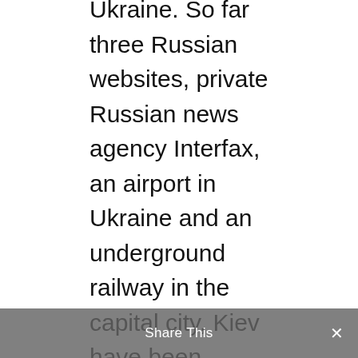Ukraine. So far three Russian websites, private Russian news agency Interfax, an airport in Ukraine and an underground railway in the capital city, Kiev have been affected by the ransomware.  According to the head of Russian cyber-security firm Group-IB, Ilya Sachkov:
“In some of the companies, the work has been completely paralyzed – servers and workstations are encrypted.” (quote source)
This ransomware also targeted top Russian banks but it was not able to penetrate in any
Share This ×